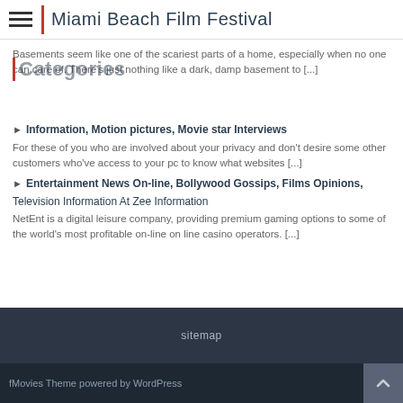Miami Beach Film Festival
Categories
Basements seem like one of the scariest parts of a home, especially when no one can care of. There's just nothing like a dark, damp basement to [...]
Information, Motion pictures, Movie star Interviews
For these of you who are involved about your privacy and don't desire some other customers who've access to your pc to know what websites [...]
Entertainment News On-line, Bollywood Gossips, Films Opinions,
Television Information At Zee Information
NetEnt is a digital leisure company, providing premium gaming options to some of the world's most profitable on-line on line casino operators. [...]
sitemap
fMovies Theme powered by WordPress